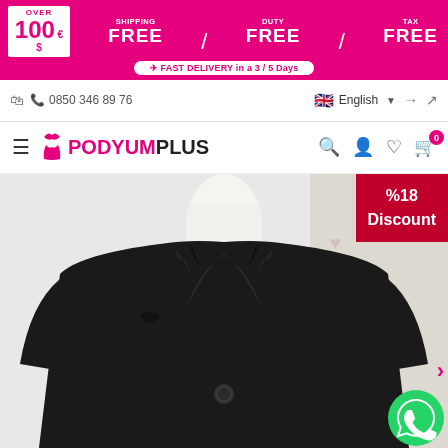[Figure (infographic): Pink banner: OVER 100 € $ / SHIPPING FREE / DUTY FREE / TAX FREE / FAST DELIVERY in a 3/5 Days]
0850 346 89 76 | English | login icons
PODYUM PLUS
[Figure (photo): Black blazer jacket on mannequin, white background, with %18 Discount badge and WhatsApp button]